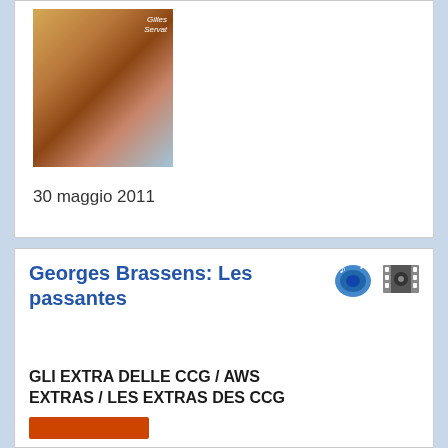[Figure (photo): Album cover image showing an illustrated face of a bearded man wearing a crown, in the style of Gilles Servat]
30 maggio 2011
QUANT'È LUNGA L'ATTESA
(Continues)
2011/5/30 - 23:11
Georges Brassens: Les passantes
GLI EXTRA DELLE CCG / AWS EXTRAS / LES EXTRAS DES CCG